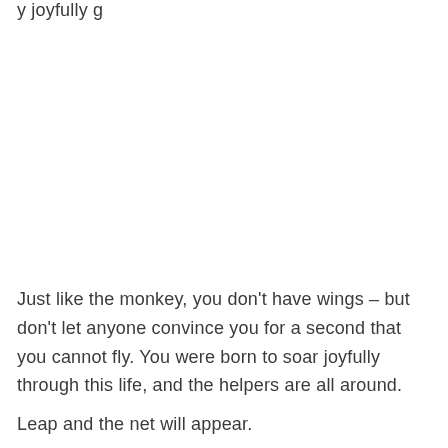y joyfully g
Just like the monkey, you don't have wings – but don't let anyone convince you for a second that you cannot fly. You were born to soar joyfully through this life, and the helpers are all around.
Leap and the net will appear.